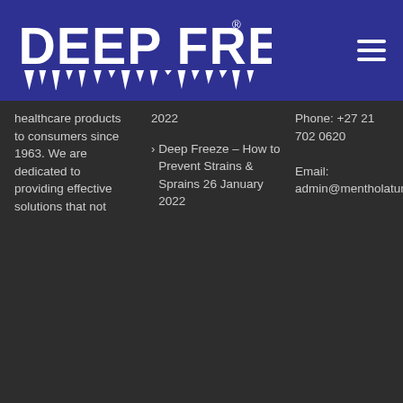[Figure (logo): Deep Freeze logo with icicle-style lettering in white on dark blue background]
healthcare products to consumers since 1963. We are dedicated to providing effective solutions that not
2022
> Deep Freeze – How to Prevent Strains & Sprains 26 January 2022
Phone: +27 21 702 0620 Email: admin@mentholatum.co.za